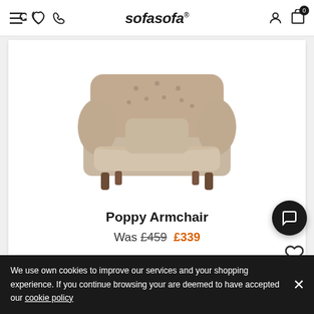sofasofa
[Figure (photo): Poppy Armchair product photo — a beige/taupe upholstered armchair with button-tufted back, rolled arms, a cushion, and dark wooden legs, photographed on a white background.]
Poppy Armchair
Was £459  £339
We use own cookies to improve our services and your shopping experience. If you continue browsing your are deemed to have accepted our cookie policy